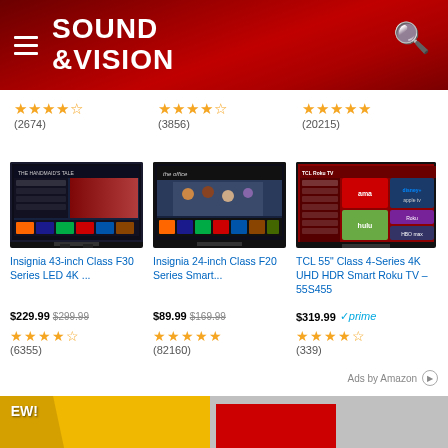SOUND &VISION
[Figure (screenshot): Rating stars (4.5/5) with review count (2674)]
[Figure (screenshot): Rating stars (4.5/5) with review count (3856)]
[Figure (screenshot): Rating stars (4.5/5) with review count (20215)]
[Figure (photo): Insignia 43-inch TV showing streaming home screen with The Handmaid's Tale]
[Figure (photo): Insignia 24-inch TV showing The Office on Amazon Fire TV interface]
[Figure (photo): TCL 55-inch Roku TV showing Roku home screen with streaming apps]
Insignia 43-inch Class F30 Series LED 4K ...
Insignia 24-inch Class F20 Series Smart...
TCL 55" Class 4-Series 4K UHD HDR Smart Roku TV – 55S455
$229.99  $299.99
$89.99  $169.99
$319.99  prime
⭐⭐⭐⭐½ (6355)
⭐⭐⭐⭐⭐ (82160)
⭐⭐⭐⭐½ (339)
Ads by Amazon
[Figure (other): Bottom advertisement banner with NEW! badge in yellow and red sections]